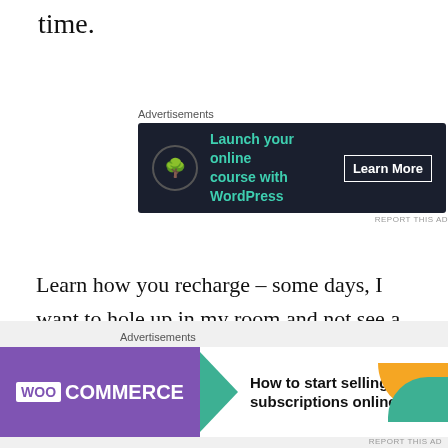time.
[Figure (other): Advertisement banner: dark background with bonsai tree icon, teal text 'Launch your online course with WordPress', and 'Learn More' button]
Learn how you recharge – some days, I want to hole up in my room and not see a soul. Other days, being by myself makes me feel like I'm going insane. Honor that recharge time, and seek the experiences that will fill your cup.
[Figure (other): Advertisement banner: WooCommerce logo on purple background with teal arrow, text 'How to start selling subscriptions online', orange and teal decorative corners]